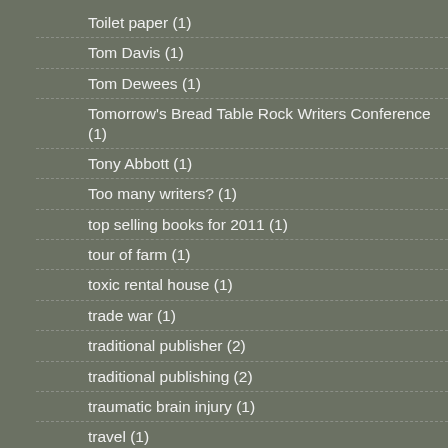Toilet paper (1)
Tom Davis (1)
Tom Dewees (1)
Tomorrow's Bread Table Rock Writers Conference (1)
Tony Abbott (1)
Too many writers? (1)
top selling books for 2011 (1)
tour of farm (1)
toxic rental house (1)
trade war (1)
traditional publisher (2)
traditional publishing (2)
traumatic brain injury (1)
travel (1)
Travis Denton (1)
trees (2)
Tri-County College (1)
Tri-County Community College (5)
tribute (2)